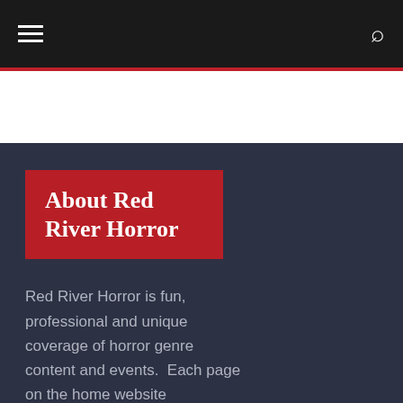Navigation bar with hamburger menu and search icon
About Red River Horror
Red River Horror is fun, professional and unique coverage of horror genre content and events.  Each page on the home website represents another Channel of Fear.